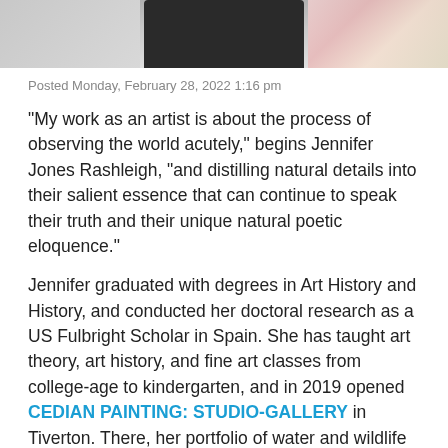[Figure (photo): Partial photo showing a person in dark clothing with flowers visible on the right side, cropped at the top of the page]
Posted Monday, February 28, 2022 1:16 pm
“My work as an artist is about the process of observing the world acutely,” begins Jennifer Jones Rashleigh, “and distilling natural details into their salient essence that can continue to speak their truth and their unique natural poetic eloquence.”
Jennifer graduated with degrees in Art History and History, and conducted her doctoral research as a US Fulbright Scholar in Spain. She has taught art theory, art history, and fine art classes from college-age to kindergarten, and in 2019 opened CEDIAN PAINTING: STUDIO-GALLERY in Tiverton. There, her portfolio of water and wildlife paintings dazzled visitors and attracted clients with her detailed, dynamic, and tactile art.
“I work with acrylic in every capacity,” Jennifer explains. “Diluted washes, translucent gel coats, brushed, spilled